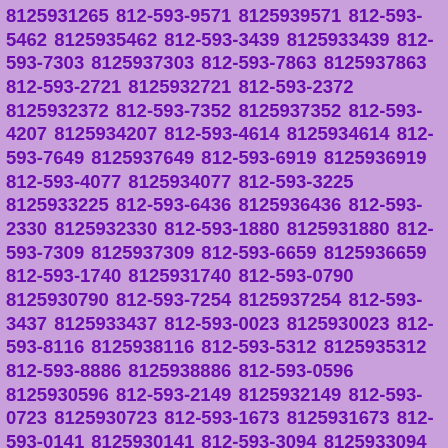8125931265 812-593-9571 8125939571 812-593-5462 8125935462 812-593-3439 8125933439 812-593-7303 8125937303 812-593-7863 8125937863 812-593-2721 8125932721 812-593-2372 8125932372 812-593-7352 8125937352 812-593-4207 8125934207 812-593-4614 8125934614 812-593-7649 8125937649 812-593-6919 8125936919 812-593-4077 8125934077 812-593-3225 8125933225 812-593-6436 8125936436 812-593-2330 8125932330 812-593-1880 8125931880 812-593-7309 8125937309 812-593-6659 8125936659 812-593-1740 8125931740 812-593-0790 8125930790 812-593-7254 8125937254 812-593-3437 8125933437 812-593-0023 8125930023 812-593-8116 8125938116 812-593-5312 8125935312 812-593-8886 8125938886 812-593-0596 8125930596 812-593-2149 8125932149 812-593-0723 8125930723 812-593-1673 8125931673 812-593-0141 8125930141 812-593-3094 8125933094 812-593-1152 8125931152 812-593-0842 8125930842 812-593-4789 8125934789 812-593-7529 8125937529 812-593-8720 8125938720 812-593-5722 8125935722 812-593-8365